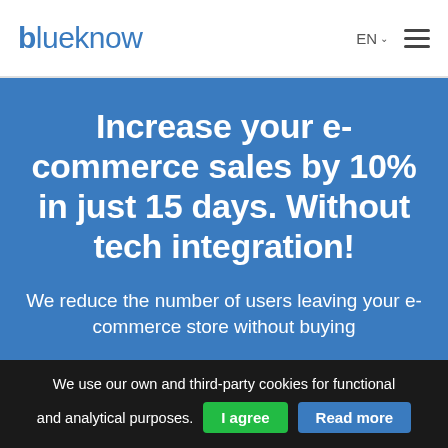blueknow | EN | menu
Increase your e-commerce sales by 10% in just 15 days. Without tech integration!
We reduce the number of users leaving your e-commerce store without buying
We use our own and third-party cookies for functional and analytical purposes. I agree | Read more